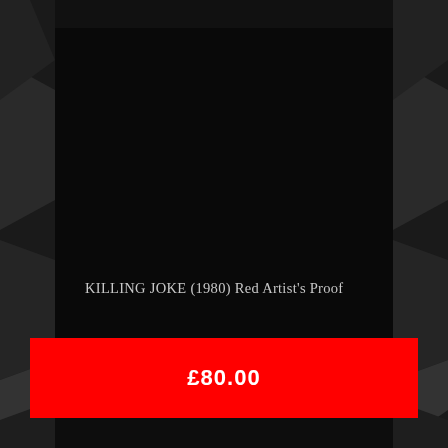[Figure (photo): Dark background with angled geometric grey/black shapes on the left and right sides, and a large nearly-black central rectangular panel forming the product display area]
KILLING JOKE (1980) Red Artist's Proof
£80.00